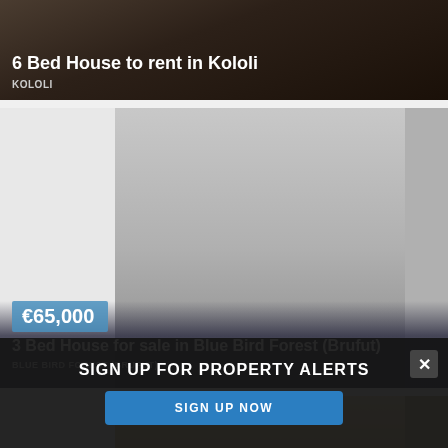[Figure (photo): Dark photo of a house exterior/driveway for 6 Bed House to rent in Kololi]
6 Bed House to rent in Kololi
KOLOLI
[Figure (photo): Photo of 3 Bed House for sale in Blue Bird Forest (Brufut) with price badge €65,000]
€65,000
3 Bed House for sale in Blue Bird Forest (Brufut)
BLUE BIRD FOREST (BRUFUT)
[Figure (photo): Partial photo of interior room with recessed ceiling lights]
SIGN UP FOR PROPERTY ALERTS
SIGN UP NOW